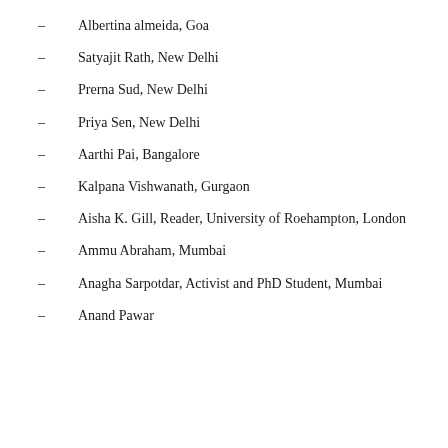Albertina almeida, Goa
Satyajit Rath, New Delhi
Prerna Sud, New Delhi
Priya Sen, New Delhi
Aarthi Pai, Bangalore
Kalpana Vishwanath, Gurgaon
Aisha K. Gill, Reader, University of Roehampton, London
Ammu Abraham, Mumbai
Anagha Sarpotdar, Activist and PhD Student, Mumbai
Anand Pawar